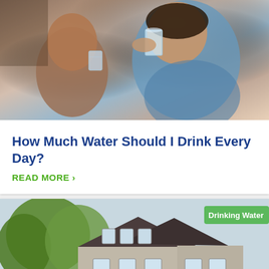[Figure (photo): Two people drinking water from glasses, close-up shot]
How Much Water Should I Drink Every Day?
READ MORE ›
[Figure (photo): People standing in front of a house, with 'Drinking Water' tag badge in top right corner]